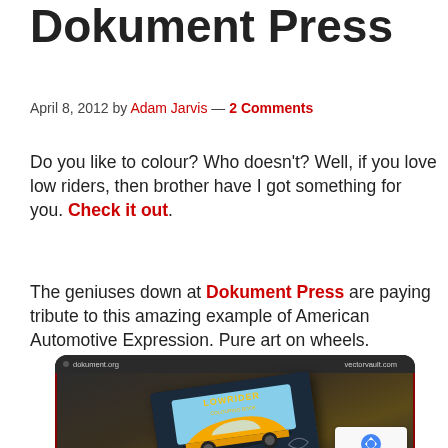Dokument Press
April 8, 2012 by Adam Jarvis — 2 Comments
Do you like to colour? Who doesn't? Well, if you love low riders, then brother have I got something for you. Check it out.
The geniuses down at Dokument Press are paying tribute to this amazing example of American Automotive Expression. Pure art on wheels.
[Figure (screenshot): Screenshot of dokument.org and vectorvault.com showing the Lowrider Colouring Book cover with a yellow lowrider car on a dark background]